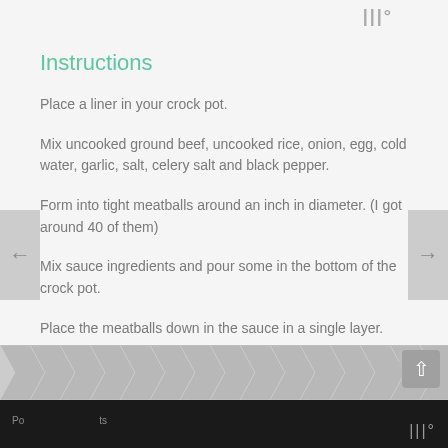|||°
Instructions
Place a liner in your crock pot.
Mix uncooked ground beef, uncooked rice, onion, egg, cold water, garlic, salt, celery salt and black pepper.
Form into tight meatballs around an inch in diameter. (I got around 40 of them)
Mix sauce ingredients and pour some in the bottom of the crock pot.
Place the meatballs down in the sauce in a single layer.
If there are any extra meatballs, place them on top of the first layer, around the edge of the crock pot.